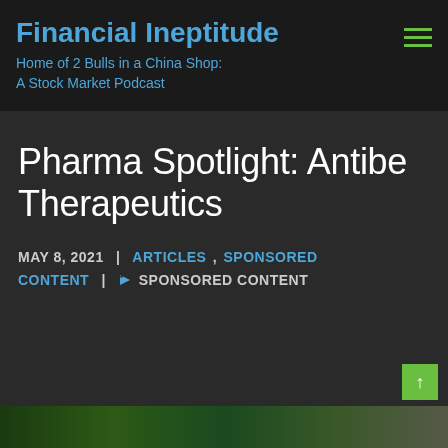Financial Ineptitude
Home of 2 Bulls in a China Shop: A Stock Market Podcast
Pharma Spotlight: Antibe Therapeutics
MAY 8, 2021 | ARTICLES , SPONSORED CONTENT | SPONSORED CONTENT
[Figure (photo): Bottom strip of a photo partially visible at the bottom of the page, appears to show an outdoor or nature scene in green tones]